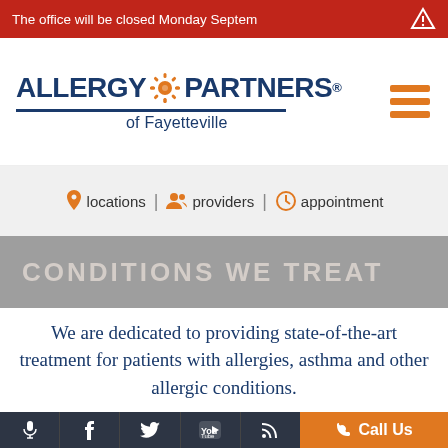The office will be closed Monday Septem
[Figure (logo): Allergy Partners of Fayetteville logo with orange gear icon and hamburger menu]
locations | providers | appointment
CONDITIONS WE TREAT
We are dedicated to providing state-of-the-art treatment for patients with allergies, asthma and other allergic conditions.
Call Us